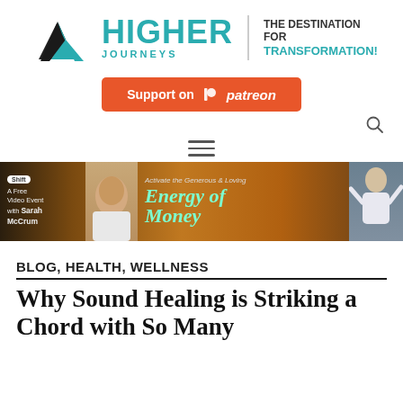[Figure (logo): Higher Journeys logo with mountain/chevron icon and teal text saying HIGHER JOURNEYS - THE DESTINATION FOR TRANSFORMATION!]
[Figure (logo): Support on Patreon button in orange-red]
[Figure (infographic): Shift Network banner ad: A Free Video Event with Sarah McCrum - Activate the Generous & Loving Energy of Money]
BLOG, HEALTH, WELLNESS
Why Sound Healing is Striking a Chord with So Many